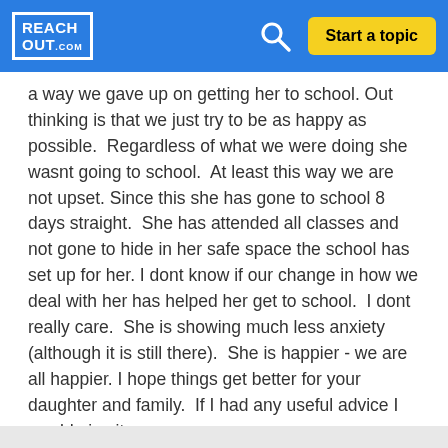REACH OUT .com | Start a topic
a way we gave up on getting her to school. Out thinking is that we just try to be as happy as possible.  Regardless of what we were doing she wasnt going to school.  At least this way we are not upset. Since this she has gone to school 8 days straight.  She has attended all classes and not gone to hide in her safe space the school has set up for her. I dont know if our change in how we deal with her has helped her get to school.  I dont really care.  She is showing much less anxiety (although it is still there).  She is happier - we are all happier. I hope things get better for your daughter and family.  If I had any useful advice I would give it.
... View more